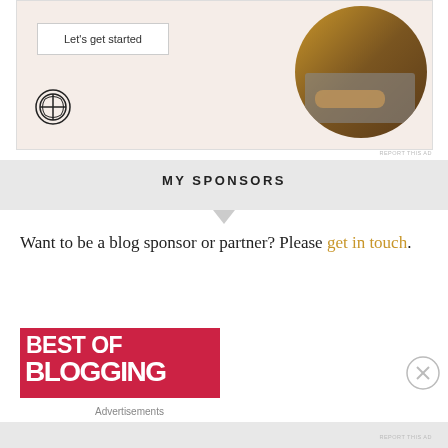[Figure (screenshot): WordPress advertisement banner with 'Let's get started' button, WordPress logo, and circular photo of person typing on laptop]
MY SPONSORS
Want to be a blog sponsor or partner? Please get in touch.
[Figure (logo): Best of Blogging red banner logo]
Advertisements